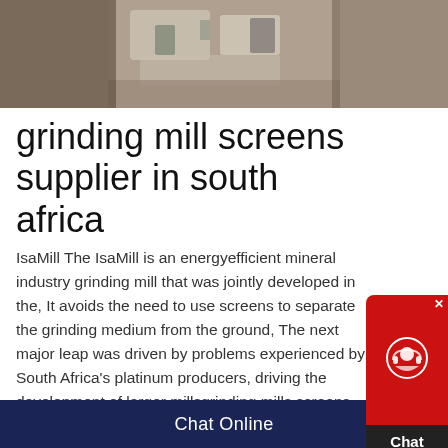[Figure (photo): Industrial grinding mill equipment photographed from above in a workshop or facility setting.]
grinding mill screens supplier in south africa
IsaMill The IsaMill is an energyefficient mineral industry grinding mill that was jointly developed in the, It avoids the need to use screens to separate the grinding medium from the ground, The next major leap was driven by problems experienced by South Africa's platinum producers, driving the development of larger millsgrinding mills screens south africa salzgrottesteinch grinding mill screens supplier in south africa grinding mill screens supplier in south africa vrolijkts SWECO, manufacturer of industrial screens and
Chat Online